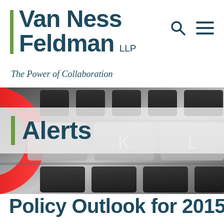Van Ness Feldman LLP — The Power of Collaboration
[Figure (photo): Close-up photograph of a laptop keyboard with black keys, showing K and L keys prominently, with a red circular object partially visible on the left side. The word 'Alerts' overlaid on a semi-transparent white banner with a green accent bar.]
Alerts
Policy Outlook for 2015